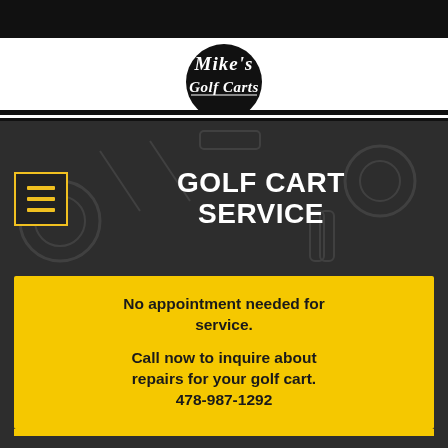[Figure (logo): Mike's Golf Carts logo with cursive white text on black circle background]
GOLF CART SERVICE
No appointment needed for service.

Call now to inquire about repairs for your golf cart. 478-987-1292
[Figure (illustration): Clipboard with checklist and pencil icon in light gray]